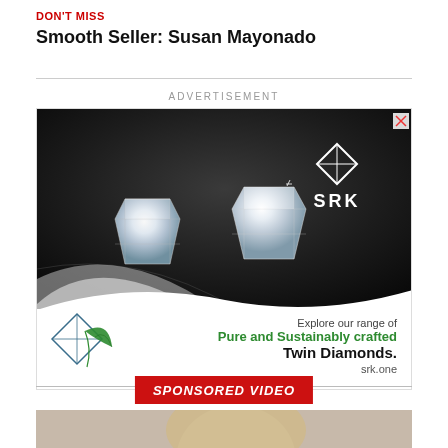DON'T MISS
Smooth Seller: Susan Mayonado
ADVERTISEMENT
[Figure (photo): Advertisement for SRK Twin Diamonds showing two emerald-cut diamonds on a dark stone background with SRK logo, green leaf logo, text: Explore our range of Pure and Sustainably crafted Twin Diamonds. srk.one]
SPONSORED VIDEO